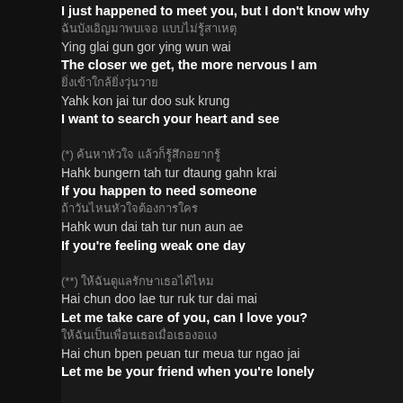I just happened to meet you, but I don't know why
ฉันบังเอิญมาพบเจอ แบบไม่รู้สาเหตุ
Ying glai gun gor ying wun wai
The closer we get, the more nervous I am
ยิ่งเข้าใกล้ยิ่งวุ่นวาย
Yahk kon jai tur doo suk krung
I want to search your heart and see
(*) ค้นหาหัวใจ แล้วก็รู้สึกอยากรู้
Hahk bungern tah tur dtaung gahn krai
If you happen to need someone
ถ้าวันไหนหัวใจต้องการใคร
Hahk wun dai tah tur nun aun ae
If you're feeling weak one day
(**) ให้ฉันดูแลรักษาเธอได้ไหม
Hai chun doo lae tur ruk tur dai mai
Let me take care of you, can I love you?
ให้ฉันเป็นเพื่อนเธอเมื่อเธองอแง
Hai chun bpen peuan tur meua tur ngao jai
Let me be your friend when you're lonely